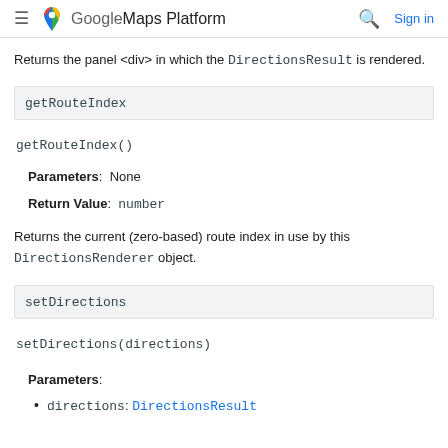Google Maps Platform
Returns the panel <div> in which the DirectionsResult is rendered.
getRouteIndex
getRouteIndex()
Parameters: None
Return Value: number
Returns the current (zero-based) route index in use by this DirectionsRenderer object.
setDirections
setDirections(directions)
Parameters:
directions: DirectionsResult